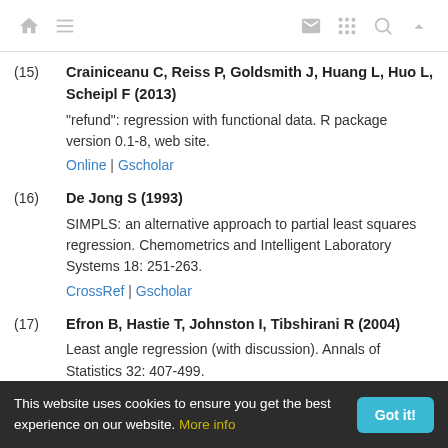navigation icons: home, menu, mail, grid, search, up
(15) Crainiceanu C, Reiss P, Goldsmith J, Huang L, Huo L, Scheipl F (2013) "refund": regression with functional data. R package version 0.1-8, web site. Online | Gscholar
(16) De Jong S (1993) SIMPLS: an alternative approach to partial least squares regression. Chemometrics and Intelligent Laboratory Systems 18: 251-263. CrossRef | Gscholar
(17) Efron B, Hastie T, Johnston I, Tibshirani R (2004) Least angle regression (with discussion). Annals of Statistics 32: 407-499.
This website uses cookies to ensure you get the best experience on our website. More info